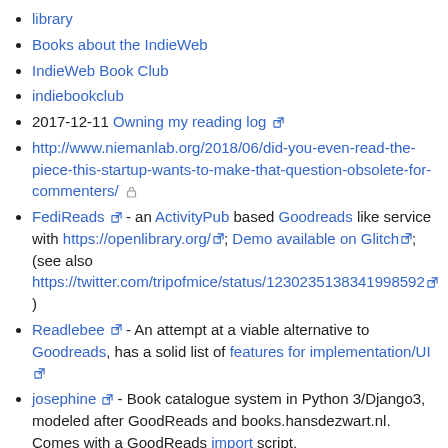library
Books about the IndieWeb
IndieWeb Book Club
indiebookclub
2017-12-11 Owning my reading log
http://www.niemanlab.org/2018/06/did-you-even-read-the-piece-this-startup-wants-to-make-that-question-obsolete-for-commenters/
FediReads - an ActivityPub based Goodreads like service with https://openlibrary.org/; Demo available on Glitch; (see also https://twitter.com/tripofmice/status/1230235138341998592)
Readlebee - An attempt at a viable alternative to Goodreads, has a solid list of features for implementation/UI
josephine - Book catalogue system in Python 3/Django3, modeled after GoodReads and books.hansdezwart.nl. Comes with a GoodReads import script.
Hans de Zwart's Books - Interesting example on a personal site with some reasonable UI design on presentation.